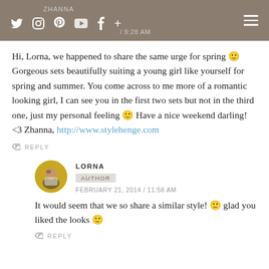Zhanna / social icons / hamburger menu
Hi, Lorna, we happened to share the same urge for spring 🙂 Gorgeous sets beautifully suiting a young girl like yourself for spring and summer. You come across to me more of a romantic looking girl, I can see you in the first two sets but not in the third one, just my personal feeling 🙂 Have a nice weekend darling! <3 Zhanna, http://www.stylehenge.com
↩ REPLY
LORNA
AUTHOR
FEBRUARY 21, 2014 / 11:58 AM
It would seem that we so share a similar style! 🙂 glad you liked the looks 🙂
↩ REPLY